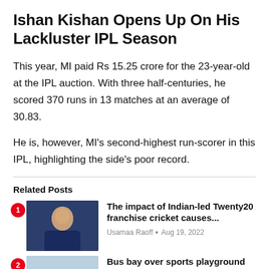Ishan Kishan Opens Up On His Lackluster IPL Season
This year, MI paid Rs 15.25 crore for the 23-year-old at the IPL auction. With three half-centuries, he scored 370 runs in 13 matches at an average of 30.83.
He is, however, MI's second-highest run-scorer in this IPL, highlighting the side's poor record.
Related Posts
The impact of Indian-led Twenty20 franchise cricket causes... — Usamaa Raoff • Aug 19, 2022
Bus bay over sports playground has made...